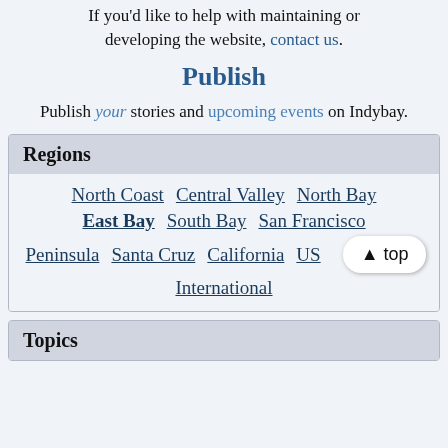If you'd like to help with maintaining or developing the website, contact us.
Publish
Publish your stories and upcoming events on Indybay.
Regions
North Coast
Central Valley
North Bay
East Bay
South Bay
San Francisco
Peninsula
Santa Cruz
California
US
International
Topics